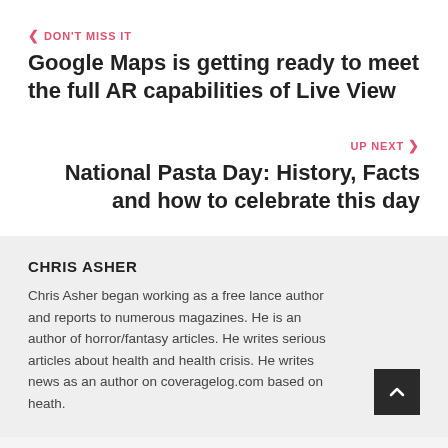DON'T MISS IT
Google Maps is getting ready to meet the full AR capabilities of Live View
UP NEXT
National Pasta Day: History, Facts and how to celebrate this day
CHRIS ASHER
Chris Asher began working as a free lance author and reports to numerous magazines. He is an author of horror/fantasy articles. He writes serious articles about health and health crisis. He writes news as an author on coveragelog.com based on heath.